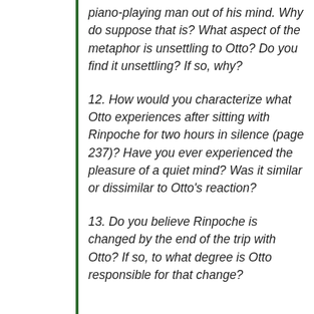piano-playing man out of his mind. Why do suppose that is? What aspect of the metaphor is unsettling to Otto? Do you find it unsettling? If so, why?
12. How would you characterize what Otto experiences after sitting with Rinpoche for two hours in silence (page 237)? Have you ever experienced the pleasure of a quiet mind? Was it similar or dissimilar to Otto's reaction?
13. Do you believe Rinpoche is changed by the end of the trip with Otto? If so, to what degree is Otto responsible for that change?